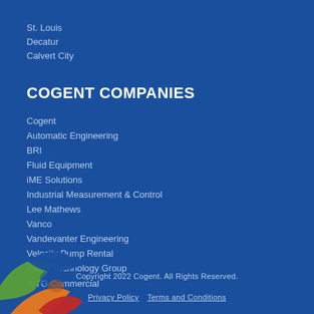St. Louis
Decatur
Calvert City
COGENT COMPANIES
Cogent
Automatic Engineering
BRI
Fluid Equipment
iME Solutions
Industrial Measurement & Control
Lee Mathews
Vanco
Vandevanter Engineering
Velocity Pump Rental
Water Technology Group
WTG Commercial
[Figure (logo): Cogent Companies colorful interlocking logo in green, orange, red, blue colors at bottom left]
Copyright 2022 Cogent. All Rights Reserved.
Privacy Policy   Terms and Conditions